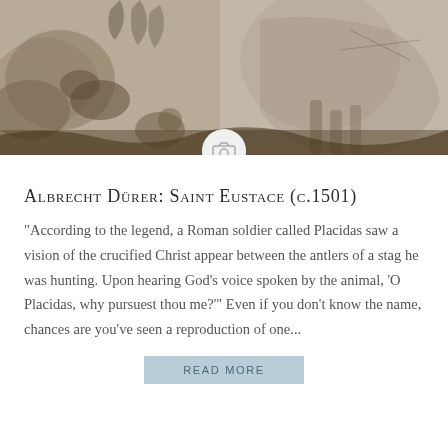[Figure (illustration): Detail of Albrecht Dürer's engraving 'Saint Eustace' (c.1501), showing horses, dogs, and woodland scene in sepia/grayish tones with a camera icon overlay at the bottom center]
Albrecht Dürer: Saint Eustace (c.1501)
“According to the legend, a Roman soldier called Placidas saw a vision of the crucified Christ appear between the antlers of a stag he was hunting. Upon hearing God’s voice spoken by the animal, ‘O Placidas, why pursuest thou me?’” Even if you don’t know the name, chances are you’ve seen a reproduction of one...
READ MORE